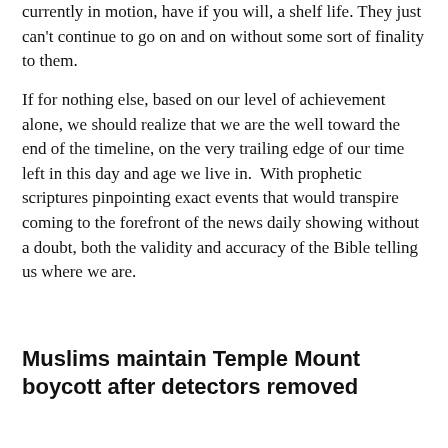currently in motion, have if you will, a shelf life. They just can't continue to go on and on without some sort of finality to them.
If for nothing else, based on our level of achievement alone, we should realize that we are the well toward the end of the timeline, on the very trailing edge of our time left in this day and age we live in.  With prophetic scriptures pinpointing exact events that would transpire coming to the forefront of the news daily showing without a doubt, both the validity and accuracy of the Bible telling us where we are.
Muslims maintain Temple Mount boycott after detectors removed
Two strong eruptions of Sheveluch and Klyuchevskov rattle Kamchatka, Russia video